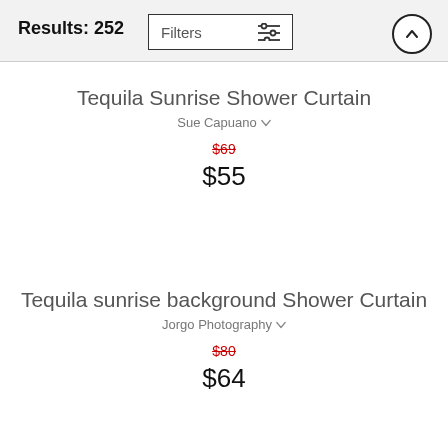Results: 252 | Filters
Tequila Sunrise Shower Curtain
Sue Capuano
$69 (original) $55 (sale)
Tequila sunrise background Shower Curtain
Jorgo Photography
$80 (original) $64 (sale)